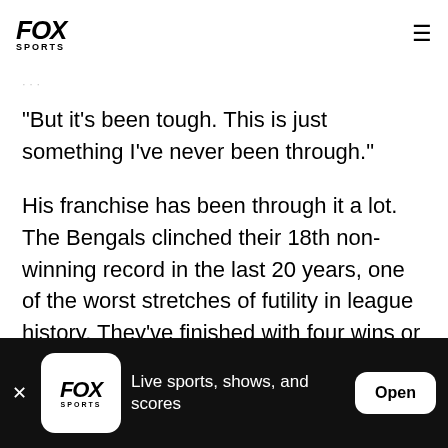FOX SPORTS
"But it's been tough. This is just something I've never been through."
His franchise has been through it a lot. The Bengals clinched their 18th non-winning record in the last 20 years, one of the worst stretches of futility in league history. They've finished with four wins or fewer in eight of those seasons.
Live sports, shows, and scores  Open